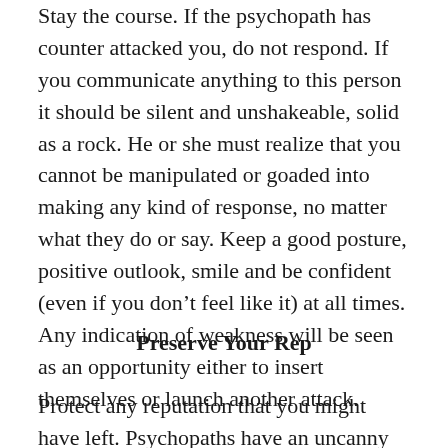Stay the course. If the psychopath has counter attacked you, do not respond. If you communicate anything to this person it should be silent and unshakeable, solid as a rock. He or she must realize that you cannot be manipulated or goaded into making any kind of response, no matter what they do or say. Keep a good posture, positive outlook, smile and be confident (even if you don't feel like it) at all times. Any indication of weakness will be seen as an opportunity either to insert themselves or launch another attack.
Preserve Your Rep
Protect any reputation that you might have left. Psychopaths have an uncanny ability to